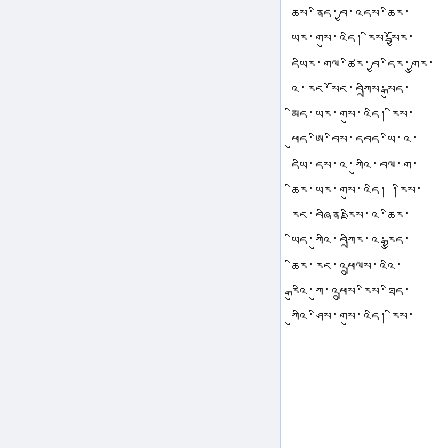Tibetan script lines (right column):
Line 1: ཆས་ནིད་བྱ་འདས་ཆིར་
Line 2: ཡར་ག་སུ་འདི། རིས་སྦྱོར་
Line 3: དཡིར་གལ་ཚིར་བྱ་དིར་གྱུར་
Line 4: འ་རང་ོང་ི་བརྟིས་ིས་སྒུད་
Line 5: མིད་ཡར་གསུ་འདི། རིས་
Line 6: ཕུད་ཨི་བིས་དབད་ཡི་འ་
Line 7: དཡི་དས་འ་ཀུའི་བལ་ག་
Line 8: ཆིར་ཡར་གསུ་འདི། །རིས་
Line 9: རང་བཞིན་རྫིིས་འ་ཆིར་
Line 10: ཡིད་ཀུའི་བཀྲིར་འ་རྒྱུད་
Line 11: ཆིར་རང་འཕྲུལས་འའི་
Line 12: རྒུའི་ཀུ་འཕྲུས་རིས་ཐིད་
Line 13: ཀུའི་ཤིས་གསུ་འདི། རིས་